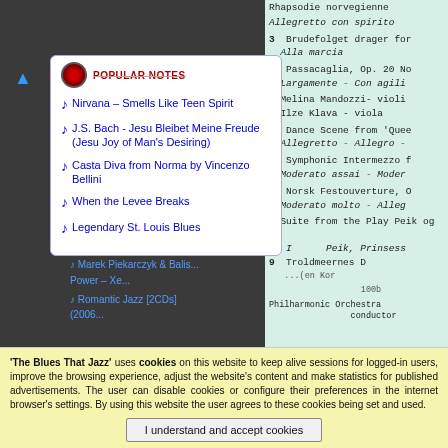POPULAR NOTES
Nirvana – Smells Like Teen Spirit
J.S. Bach - Jesu Bleibet Meine Freude (Jesu Joy of Man's Desiring)
Casta Diva from Norma by Vincenzo Bellini
When the Levee Breaks
Legendary St. Louis Blues
POPULAR ALBUMS
Enrico Rava, Claudio Fasoli, Franco D'Andrea - Icon (1996)
2 Rhapsodie norvegienne
Allegretto con spirito
3 Brudefolget drager for
Alla marcia
4 Passacaglia, Op. 20 No
Largamente - Con agili
Melina Mandozzi- violi
Ilze Klava - viola
5 Dance Scene from 'Quee
Allegretto - Allegro -
6 Symphonic Intermezzo f
Moderato assai - Moder
7 Norsk Festouverture, O
Moderato molto - Alleg
Suite from the Play Peik og St
8 I Peik, Prinsess
9 Troldmeernes D
'The Blues That Jazz' uses cookies on this website to keep alive sessions for logged-in users, improve the browsing experience, adjust the website's content and make statistics for published advertisements. The user can disable cookies or configure their preferences in the internet browser's settings. By using this website the user agrees to these cookies being set and used.
I understand and accept cookies